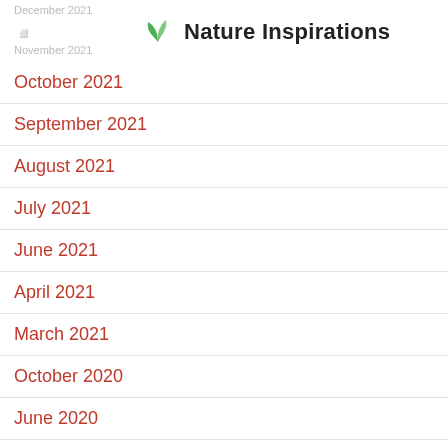December 2021 | Nature Inspirations | November 2021
October 2021
September 2021
August 2021
July 2021
June 2021
April 2021
March 2021
October 2020
June 2020
April 2020